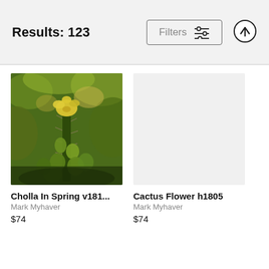Results: 123
Filters
[Figure (photo): Photo of a cholla cactus in spring with yellow flower blooms and green buds]
Cholla In Spring v181...
Mark Myhaver
$74
Cactus Flower h1805
Mark Myhaver
$74